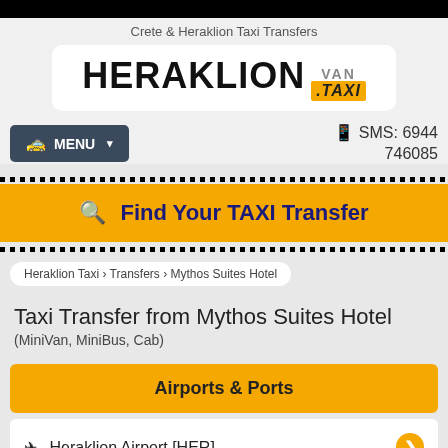Crete & Heraklion Taxi Transfers
[Figure (logo): Heraklion Van Taxi logo — HERAKLION in black bold with VAN TAXI badge]
🚕 MENU ▾
🕿 SMS: 6944 746085
🔍 Find Your TAXI Transfer
Heraklion Taxi › Transfers › Mythos Suites Hotel
Taxi Transfer from Mythos Suites Hotel
(MiniVan, MiniBus, Cab)
Airports & Ports
✈ Heraklion Airport [HER]
📍 Mythos Suites Hotel